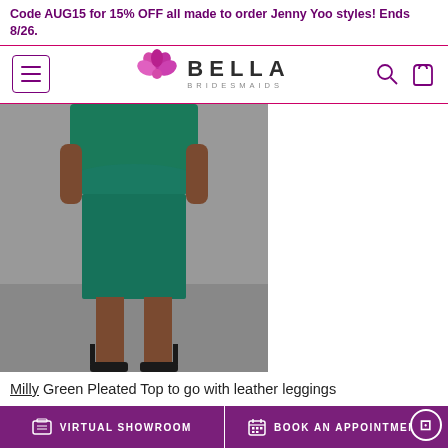Code AUG15 for 15% OFF all made to order Jenny Yoo styles! Ends 8/26.
[Figure (logo): Bella Bridesmaids logo with pink flower icon, BELLA text in bold and BRIDESMAIDS in small caps below]
[Figure (photo): Woman wearing a green pleated top with a green pencil skirt, standing against a grey background, wearing black heeled sandals]
Milly Green Pleated Top to go with leather leggings
VIRTUAL SHOWROOM    BOOK AN APPOINTMENT